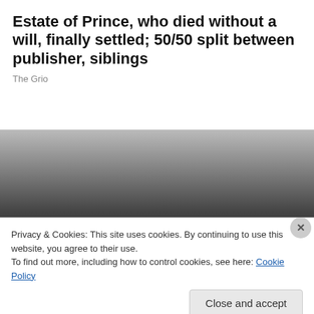Estate of Prince, who died without a will, finally settled; 50/50 split between publisher, siblings
The Grio
[Figure (photo): Dark gradient image serving as background for a news article thumbnail, with a bold white headline overlay at the bottom reading: Federal judge rules Black students' lawsuit]
Federal judge rules Black students' lawsuit
Privacy & Cookies: This site uses cookies. By continuing to use this website, you agree to their use.
To find out more, including how to control cookies, see here: Cookie Policy
Close and accept